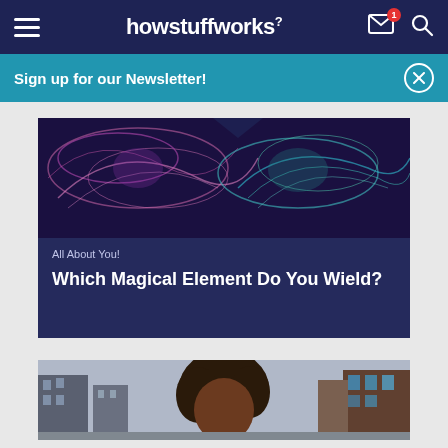howstuffworks
Sign up for our Newsletter!
[Figure (photo): Abstract glowing light streaks in purple and teal on dark background]
All About You!
Which Magical Element Do You Wield?
[Figure (photo): Woman with curly hair looking down on a city street with buildings in the background]